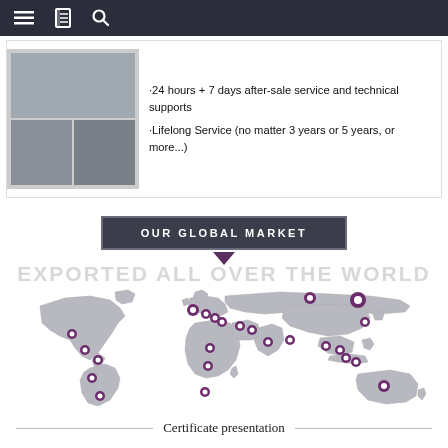Navigation bar with menu, bookmark, and search icons
[Figure (photo): Collage of event/trade show photos showing people at a booth]
·24 hours + 7 days after-sale service and technical supports
·Lifelong Service (no matter 3 years or 5 years, or more...)
OUR GLOBAL MARKET
[Figure (map): World map in grey showing global market presence with purple location pins across North America, South America, Europe, Africa, Middle East, Asia, Southeast Asia, and Australia]
EXPORTED ALL OVER THE WORLD
Certificate presentation